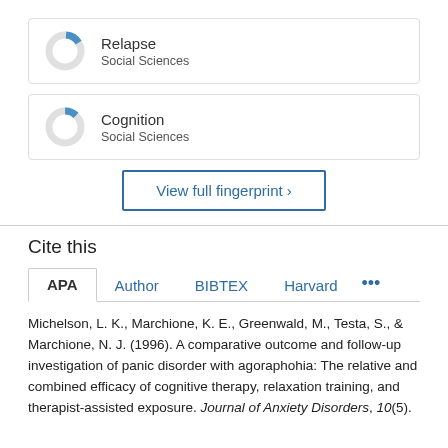[Figure (donut-chart): Small donut chart with blue segment, labeled Relapse, Social Sciences]
Relapse
Social Sciences
[Figure (donut-chart): Small donut chart with blue segment, labeled Cognition, Social Sciences]
Cognition
Social Sciences
View full fingerprint >
Cite this
APA   Author   BIBTEX   Harvard   ...
Michelson, L. K., Marchione, K. E., Greenwald, M., Testa, S., & Marchione, N. J. (1996). A comparative outcome and follow-up investigation of panic disorder with agoraphohia: The relative and combined efficacy of cognitive therapy, relaxation training, and therapist-assisted exposure. Journal of Anxiety Disorders, 10(5).